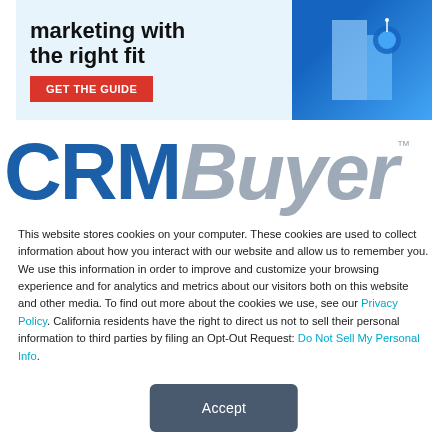[Figure (illustration): Advertisement banner with text 'marketing with the right fit', a red 'GET THE GUIDE' button, and a blue image of a building on the right]
[Figure (logo): CRMBuyer logo with 'CRM' in bold blue and 'Buyer' in italic gray, with TM superscript]
This website stores cookies on your computer. These cookies are used to collect information about how you interact with our website and allow us to remember you. We use this information in order to improve and customize your browsing experience and for analytics and metrics about our visitors both on this website and other media. To find out more about the cookies we use, see our Privacy Policy. California residents have the right to direct us not to sell their personal information to third parties by filing an Opt-Out Request: Do Not Sell My Personal Info.
Accept